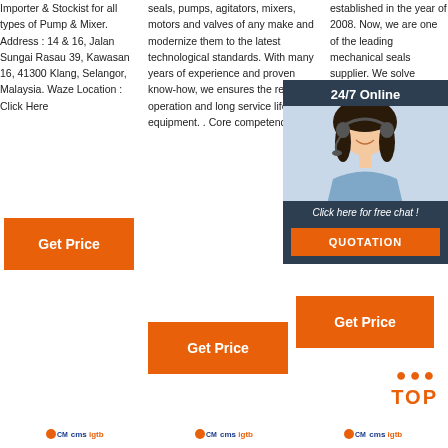Importer & Stockist for all types of Pump & Mixer. Address : 14 & 16, Jalan Sungai Rasau 39, Kawasan 16, 41300 Klang, Selangor, Malaysia. Waze Location : Click Here
seals, pumps, agitators, mixers, motors and valves of any make and modernize them to the latest technological standards. With many years of experience and proven know-how, we ensures the reliable operation and long service life of your equipment. . Core competencies.
established in the year of 2008. Now, we are one of the leading mechanical seals supplier. We solve problems in mechanical seal, provide sealing price.
[Figure (other): Orange Get Price button (column 1)]
[Figure (other): Orange Get Price button (column 2)]
[Figure (other): 24/7 Online chat widget with agent photo, Click here for free chat text, and QUOTATION button]
[Figure (other): Orange Get Price button (column 3)]
[Figure (other): TOP back-to-top button with orange dots and text]
[Figure (logo): Three footer logos]